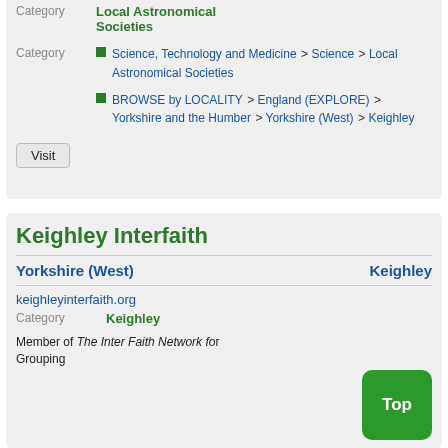Category   Local Astronomical Societies
Science, Technology and Medicine > Science > Local Astronomical Societies
BROWSE by LOCALITY > England (EXPLORE) > Yorkshire and the Humber > Yorkshire (West) > Keighley
Visit
Keighley Interfaith
Yorkshire (West)    Keighley
keighleyinterfaith.org
Category   Keighley
Member of The Inter Faith Network for Grouping